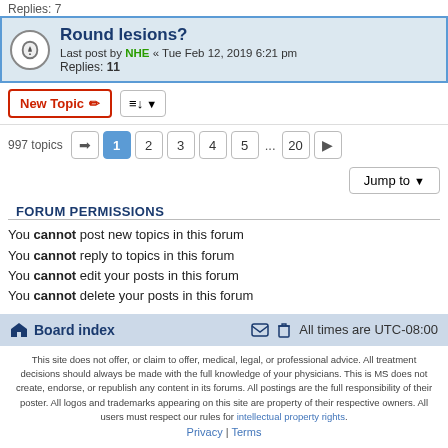Replies: 7
Round lesions?
Last post by NHE « Tue Feb 12, 2019 6:21 pm
Replies: 11
New Topic  |  Sort  | 997 topics | pages 1 2 3 4 5 ... 20 | Jump to
FORUM PERMISSIONS
You cannot post new topics in this forum
You cannot reply to topics in this forum
You cannot edit your posts in this forum
You cannot delete your posts in this forum
Board index   All times are UTC-08:00
This site does not offer, or claim to offer, medical, legal, or professional advice. All treatment decisions should always be made with the full knowledge of your physicians. This is MS does not create, endorse, or republish any content in its forums. All postings are the full responsibility of their poster. All logos and trademarks appearing on this site are property of their respective owners. All users must respect our rules for intellectual property rights.
Privacy | Terms